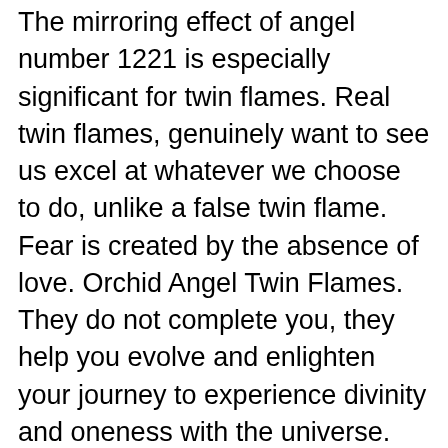The mirroring effect of angel number 1221 is especially significant for twin flames. Real twin flames, genuinely want to see us excel at whatever we choose to do, unlike a false twin flame. Fear is created by the absence of love. Orchid Angel Twin Flames. They do not complete you, they help you evolve and enlighten your journey to experience divinity and oneness with the universe. They shake up everything you knew about reality and expand your consciousness while sending your chakras into overdrive. The Fallen Angels were created by having a priest call upon the spirits of the real angels and. But seeing 808 also means that you are going to reunite with your twin flame. Angel Number 1144 Twin Flame. I would like to